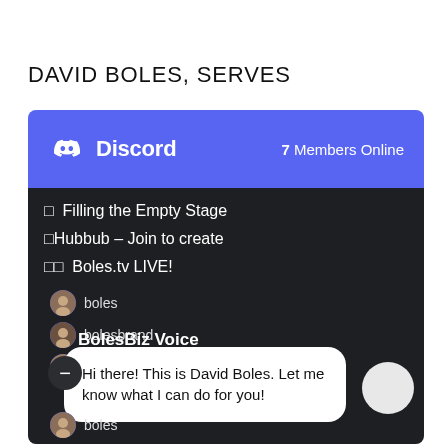DAVID BOLES, SERVES
[Figure (screenshot): Discord server screenshot showing Discord logo header with '7 Members Online', channel list with 'Filling the Empty Stage', 'Hubbub - Join to create', 'Boles.tv LIVE!', user list with boles, bolesbrand, janna avatars, a BolesBiz Voice section, a minus button, a chat bubble saying 'Hi there! This is David Boles. Let me know what I can do for you!', and a bottom boles user entry with a white circle button.]